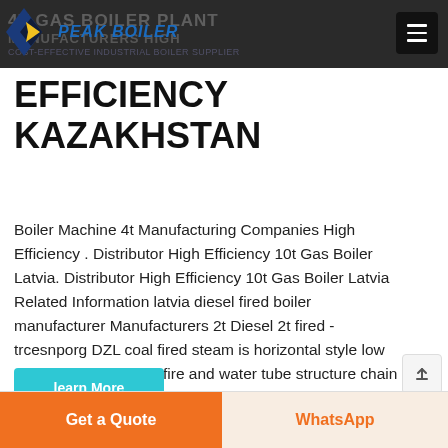4T GAS BOILER PLANT MANUFACTURERS HIGH EFFICIENCY PEAK BOILER
EFFICIENCY KAZAKHSTAN
Boiler Machine 4t Manufacturing Companies High Efficiency . Distributor High Efficiency 10t Gas Boiler Latvia. Distributor High Efficiency 10t Gas Boiler Latvia Related Information latvia diesel fired boiler manufacturer Manufacturers 2t Diesel 2t fired - trcesnporg DZL coal fired steam is horizontal style low pressure single drum fire and water tube structure chain grate …
learn More
Get a Quote | WhatsApp